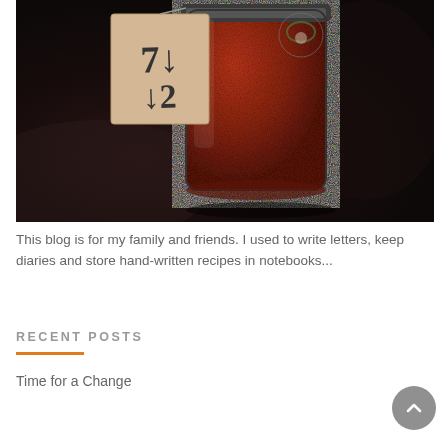[Figure (photo): A glass jar filled with dark red spice (paprika or chili powder), with a kraft paper label tag showing handwritten characters, sitting on a dark granite surface]
This blog is for my family and friends. I used to write letters, keep diaries and store hand-written recipes in notebooks...
RECENT POSTS
Time for a Change